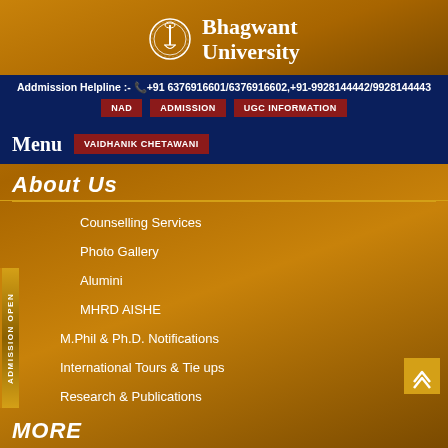[Figure (logo): Bhagwant University logo with emblem and text]
Addmission Helpline :- +91 6376916601/6376916602,+91-9928144442/9928144443
NAD
ADMISSION
UGC INFORMATION
Menu
VAIDHANIK CHETAWANI
ABOUT US
Counselling Services
Photo Gallery
Alumini
MHRD AISHE
M.Phil & Ph.D. Notifications
International Tours & Tie ups
Research & Publications
MORE